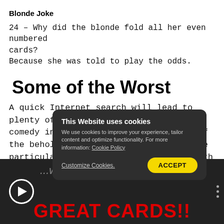Blonde Joke
24 – Why did the blonde fold all her even numbered cards?
Because she was told to play the odds.
Some of the Worst
A quick Internet search will lead to plenty of poker jokes. The degree of comedy involved may be up to the eye of the beholder. But here's a look at some particularly cheesy jokes beginning with a few laughs from
[Figure (screenshot): Video player showing poker-related content with play button, partial text overlay, and 'GREAT CARDS!!' text in red at the bottom]
This Website uses cookies
We use cookies to improve your experience, tailor content and optimize functionality. For more information Cookie Policy
Customize Cookies.   ACCEPT